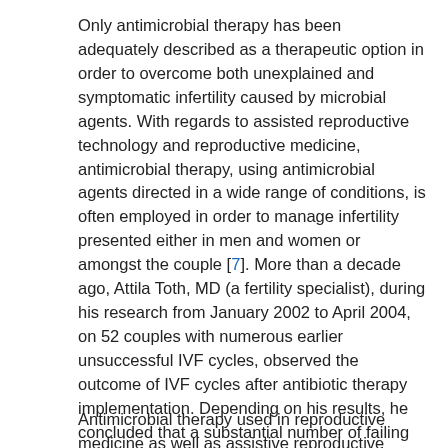Only antimicrobial therapy has been adequately described as a therapeutic option in order to overcome both unexplained and symptomatic infertility caused by microbial agents. With regards to assisted reproductive technology and reproductive medicine, antimicrobial therapy, using antimicrobial agents directed in a wide range of conditions, is often employed in order to manage infertility presented either in men and women or amongst the couple [7]. More than a decade ago, Attila Toth, MD (a fertility specialist), during his research from January 2002 to April 2004, on 52 couples with numerous earlier unsuccessful IVF cycles, observed the outcome of IVF cycles after antibiotic therapy implementation. Depending on his results, he concluded that a substantial number of failing IVF cycles is due to the existence of intrauterine microbial infection, undetectable during pre-treatment diagnostic routine, thus a prophylactic course of antibiotic therapy can be proven useful in the treatment of infertile or subfertile couples [8].
Antimicrobial therapy used in reproductive medicine as well as assistive reproductive technology aims in one of